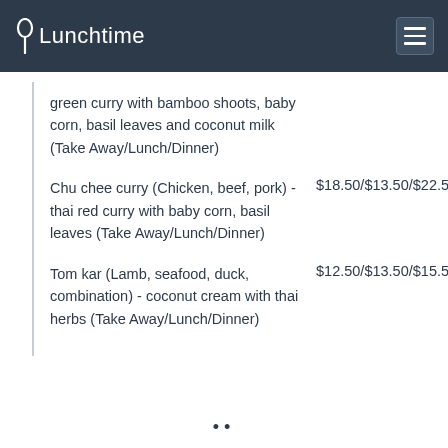Lunchtime
green curry with bamboo shoots, baby corn, basil leaves and coconut milk (Take Away/Lunch/Dinner)
Chu chee curry (Chicken, beef, pork) - thai red curry with baby corn, basil leaves (Take Away/Lunch/Dinner)   $18.50/$13.50/$22.50
Tom kar (Lamb, seafood, duck, combination) - coconut cream with thai herbs (Take Away/Lunch/Dinner)   $12.50/$13.50/$15.50